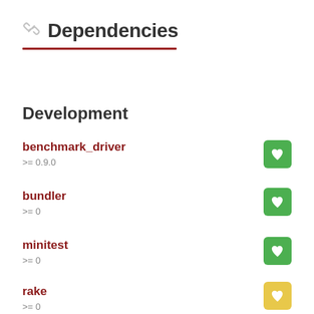Dependencies
Development
benchmark_driver >= 0.9.0
bundler >= 0
minitest >= 0
rake >= 0